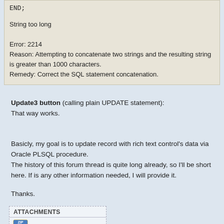END;

String too long

Error: 2214
Reason: Attempting to concatenate two strings and the resulting string
is greater than 1000 characters.
Remedy: Correct the SQL statement concatenation.
Update3 button (calling plain UPDATE statement):
That way works.
Basicly, my goal is to update record with rich text control's data via Oracle PLSQL procedure.
The history of this forum thread is quite long already, so I'll be short here. If is any other information needed, I will provide it.
Thanks.
ATTACHMENTS
sample_blob_v2.zip